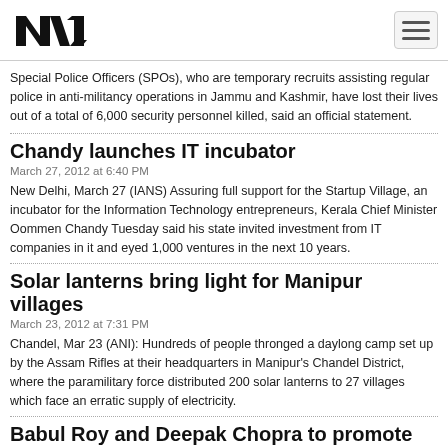NTI [logo] [hamburger menu]
Special Police Officers (SPOs), who are temporary recruits assisting regular police in anti-militancy operations in Jammu and Kashmir, have lost their lives out of a total of 6,000 security personnel killed, said an official statement.
Chandy launches IT incubator
March 27, 2012 at 6:40 PM
New Delhi, March 27 (IANS) Assuring full support for the Startup Village, an incubator for the Information Technology entrepreneurs, Kerala Chief Minister Oommen Chandy Tuesday said his state invited investment from IT companies in it and eyed 1,000 ventures in the next 10 years.
Solar lanterns bring light for Manipur villages
March 23, 2012 at 7:31 PM
Chandel, Mar 23 (ANI): Hundreds of people thronged a daylong camp set up by the Assam Rifles at their headquarters in Manipur's Chandel District, where the paramilitary force distributed 200 solar lanterns to 27 villages which face an erratic supply of electricity.
Babul Roy and Deepak Chopra to promote spiritual...